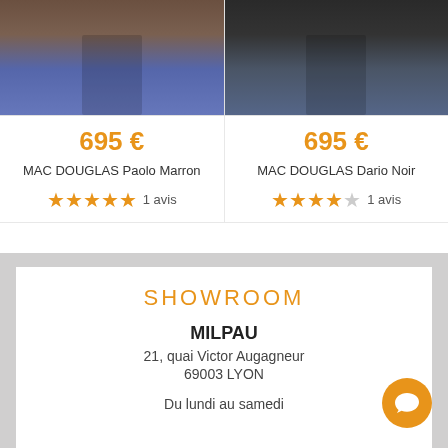[Figure (photo): Cropped torso of person wearing brown/dark leather jacket and light blue jeans, hands in pockets]
[Figure (photo): Cropped torso of person wearing dark jacket and dark blue jeans]
695 €
695 €
MAC DOUGLAS Paolo Marron
MAC DOUGLAS Dario Noir
1 avis
1 avis
SHOWROOM
MILPAU
21, quai Victor Augagneur
69003 LYON
Du lundi au samedi